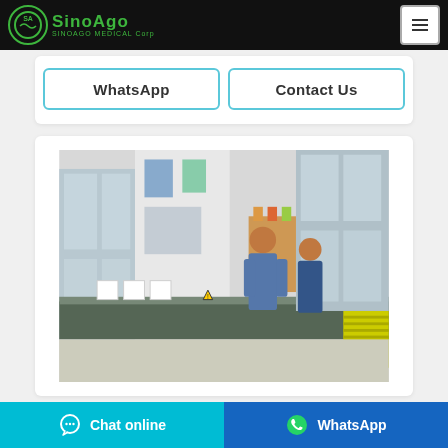SinoAgo Medical Corp
[Figure (logo): SinoAgo Medical Corp logo with green circle and text on black header bar]
WhatsApp  Contact Us
[Figure (photo): Factory workers at assembly/production line with windows, equipment, and yellow crates in a medical manufacturing facility]
Chat online  WhatsApp